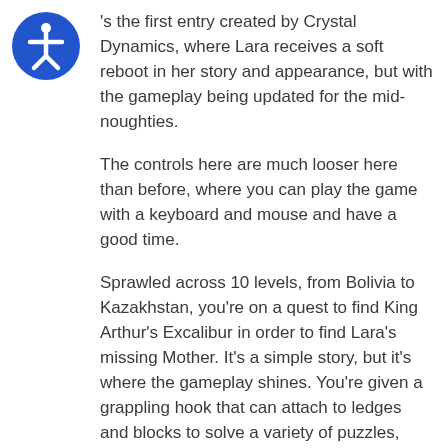[Figure (logo): Blue circular accessibility icon showing a stylized person figure in white on a blue background]
's the first entry created by Crystal Dynamics, where Lara receives a soft reboot in her story and appearance, but with the gameplay being updated for the mid-noughties.
The controls here are much looser here than before, where you can play the game with a keyboard and mouse and have a good time.
Sprawled across 10 levels, from Bolivia to Kazakhstan, you're on a quest to find King Arthur's Excalibur in order to find Lara's missing Mother. It's a simple story, but it's where the gameplay shines. You're given a grappling hook that can attach to ledges and blocks to solve a variety of puzzles, alongside finding secret treasures that can unlock costumes for Lara.
For a game released in 2006, it still plays well today, and especially so on an Apple Silicon Mac. You can